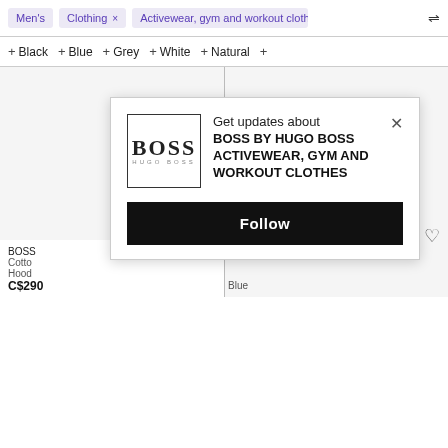Men's | Clothing × | Activewear, gym and workout cloth
+ Black  + Blue  + Grey  + White  + Natural  +
[Figure (screenshot): Two-column product grid with white product areas separated by a vertical divider line]
Get updates about
BOSS BY HUGO BOSS
ACTIVEWEAR, GYM AND
WORKOUT CLOTHES
Follow
BOSS
Cotto
Hood
C$290
Blue